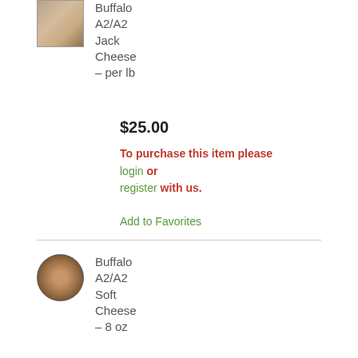[Figure (photo): Photo of Buffalo A2/A2 Jack Cheese block wrapped in plastic]
Buffalo A2/A2 Jack Cheese – per lb
$25.00
To purchase this item please login or register with us.
Add to Favorites
[Figure (photo): Photo of Buffalo A2/A2 Soft Cheese round in plastic]
Buffalo A2/A2 Soft Cheese – 8 oz